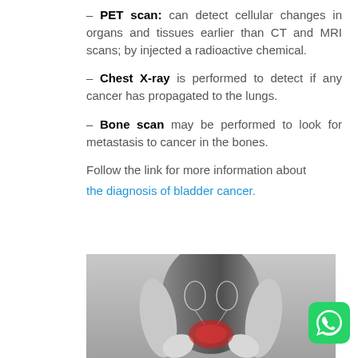– PET scan: can detect cellular changes in organs and tissues earlier than CT and MRI scans; by injected a radioactive chemical.
– Chest X-ray is performed to detect if any cancer has propagated to the lungs.
– Bone scan may be performed to look for metastasis to cancer in the bones.
Follow the link for more information about the diagnosis of bladder cancer.
[Figure (photo): Medical illustration showing a person holding their midsection with kidney/bladder diagram overlay and inflammation indicated in red at the lower abdomen area.]
[Figure (logo): WhatsApp green icon button]